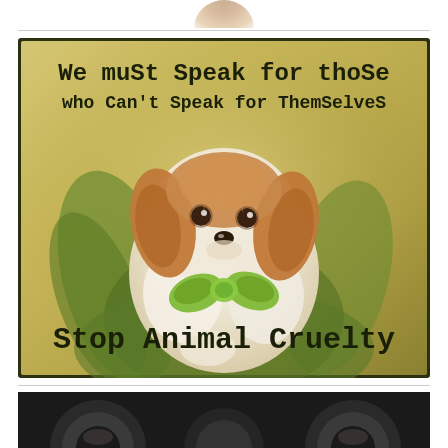[Figure (illustration): Partial view of an animal photo cropped at top of page]
[Figure (illustration): Animal welfare advocacy poster with a small fluffy puppy wearing a green bow, with text: 'We must Speak for those who Can't Speak for Themselves' and 'Stop Animal Cruelty' on a vintage yellowish-green background with dark border]
[Figure (illustration): Partial view of another animal-related image cropped at bottom of page]